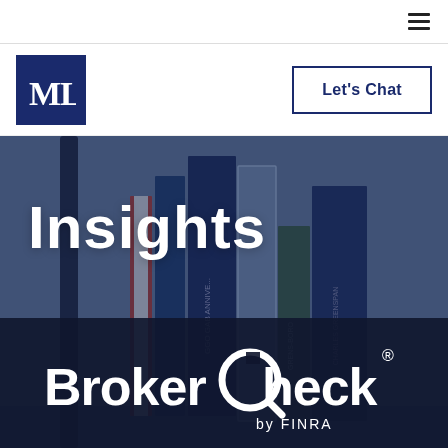Navigation bar with hamburger menu
[Figure (logo): ML monogram logo in dark navy blue square]
Let's Chat
[Figure (photo): Bookshelf with various books in dark blue tones, blurred background]
Insights
[Figure (logo): BrokerCheck by FINRA logo in white on dark navy background]